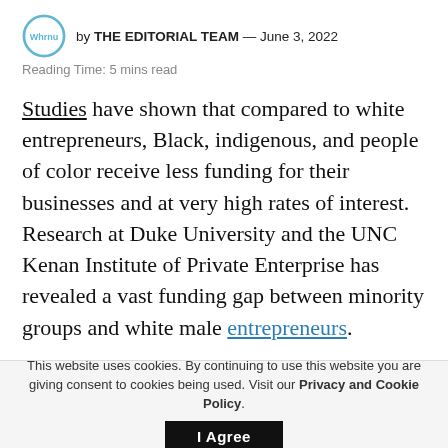by THE EDITORIAL TEAM — June 3, 2022
Reading Time: 5 mins read
Studies have shown that compared to white entrepreneurs, Black, indigenous, and people of color receive less funding for their businesses and at very high rates of interest. Research at Duke University and the UNC Kenan Institute of Private Enterprise has revealed a vast funding gap between minority groups and white male entrepreneurs.
Small business grants are not only valuable alternatives to setting up new businesses but
This website uses cookies. By continuing to use this website you are giving consent to cookies being used. Visit our Privacy and Cookie Policy.  I Agree